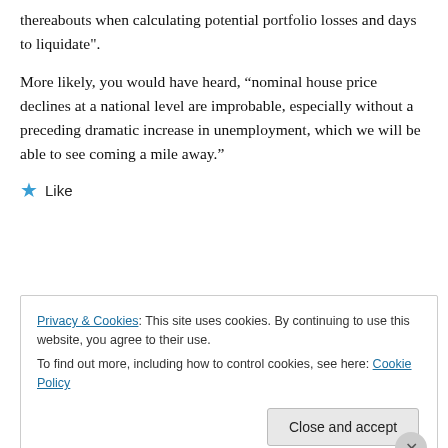thereabouts when calculating potential portfolio losses and days to liquidate".
More likely, you would have heard, “nominal house price declines at a national level are improbable, especially without a preceding dramatic increase in unemployment, which we will be able to see coming a mile away.”
★ Like
Privacy & Cookies: This site uses cookies. By continuing to use this website, you agree to their use.
To find out more, including how to control cookies, see here: Cookie Policy
Close and accept